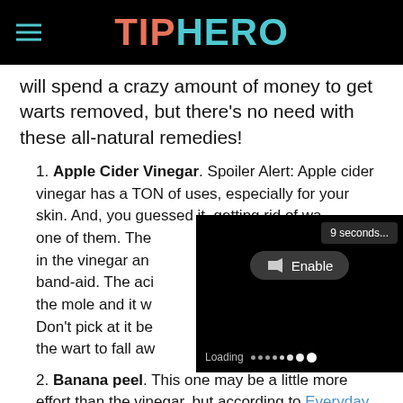TIPHERO
will spend a crazy amount of money to get warts removed, but there’s no need with these all-natural remedies!
1. Apple Cider Vinegar. Spoiler Alert: Apple cider vinegar has a TON of uses, especially for your skin. And, you guessed it, getting rid of warts is one of them. The … in the vinegar and … band-aid. The acid … the mole and it w… Don’t pick at it be… the wart to fall aw…
[Figure (screenshot): Video player overlay showing '9 seconds...' timer, 'Enable' audio button, and loading indicator with dots]
2. Banana peel. This one may be a little more effort than the vinegar, but according to Everyday…